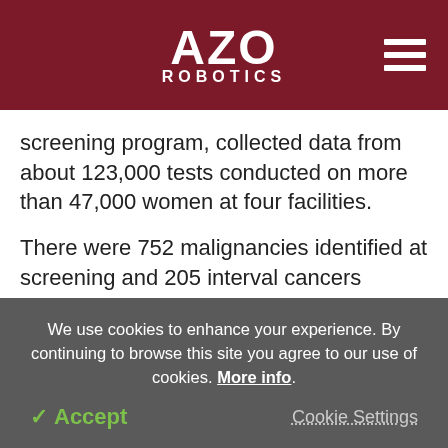AZO ROBOTICS
screening program, collected data from about 123,000 tests conducted on more than 47,000 women at four facilities.
There were 752 malignancies identified at screening and 205 interval cancers (cancers discovered between screening rounds) in the dataset. On a scale of one to ten, the AI system projected cancer risk, with one being the lowest risk and ten representing the highest
We use cookies to enhance your experience. By continuing to browse this site you agree to our use of cookies. More info.
✓ Accept
Cookie Settings